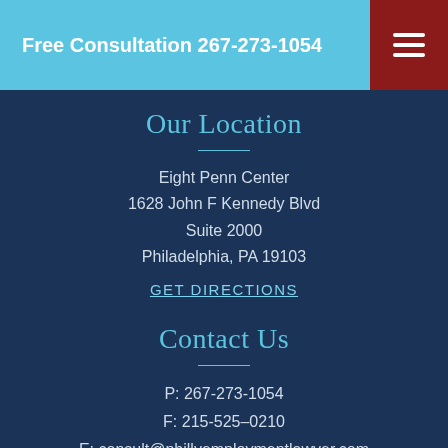Free Consultation 267-273-1054
Our Location
Eight Penn Center
1628 John F Kennedy Blvd
Suite 2000
Philadelphia, PA 19103
GET DIRECTIONS
Contact Us
P: 267-273-1054
F: 215-525–0210
E: consult@phillyemploymentlawyer.com